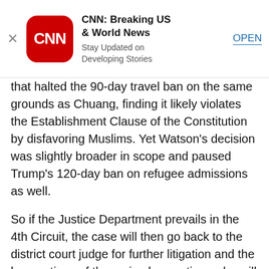[Figure (screenshot): CNN app advertisement banner with red rounded-square logo, app name 'CNN: Breaking US & World News', subtitle 'Stay Updated on Developing Stories', close X button, and OPEN link]
that halted the 90-day travel ban on the same grounds as Chuang, finding it likely violates the Establishment Clause of the Constitution by disfavoring Muslims. Yet Watson's decision was slightly broader in scope and paused Trump's 120-day ban on refugee admissions as well.
So if the Justice Department prevails in the 4th Circuit, the case will then go back to the district court judge for further litigation and the key portions of the revised executive order will stay on hold as long as Watson's nationwide decision remains in effect.
The Trump administration's challenge to Watson's ruling will be heard by the 4th Circuit Court of